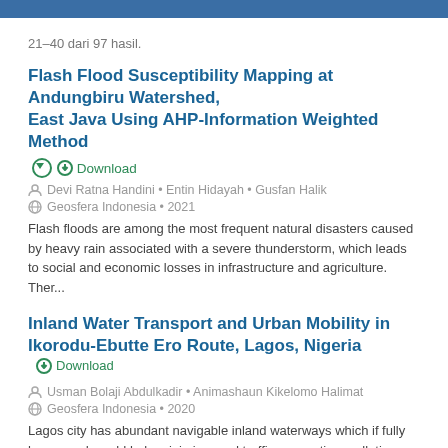21–40 dari 97 hasil.
Flash Flood Susceptibility Mapping at Andungbiru Watershed, East Java Using AHP-Information Weighted Method
Download
Devi Ratna Handini • Entin Hidayah • Gusfan Halik
Geosfera Indonesia • 2021
Flash floods are among the most frequent natural disasters caused by heavy rain associated with a severe thunderstorm, which leads to social and economic losses in infrastructure and agriculture. Ther...
Inland Water Transport and Urban Mobility in Ikorodu-Ebutte Ero Route, Lagos, Nigeria
Download
Usman Bolaji Abdulkadir • Animashaun Kikelomo Halimat
Geosfera Indonesia • 2020
Lagos city has abundant navigable inland waterways which if fully harnessed would help minimise road traffic congestion, pollution and provide low cost means of long distance travel within the city.